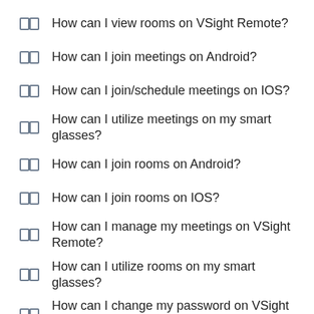How can I view rooms on VSight Remote?
How can I join meetings on Android?
How can I join/schedule meetings on IOS?
How can I utilize meetings on my smart glasses?
How can I join rooms on Android?
How can I join rooms on IOS?
How can I manage my meetings on VSight Remote?
How can I utilize rooms on my smart glasses?
How can I change my password on VSight Remote?
How can I join a session?